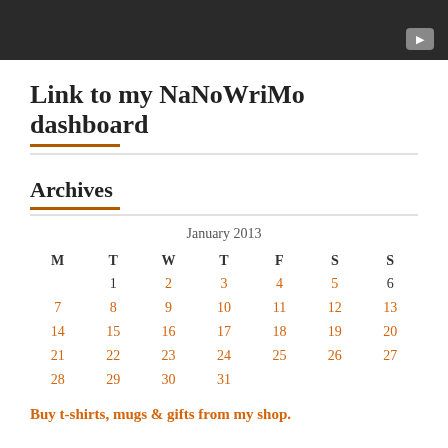[Figure (screenshot): Dark video thumbnail bar with play button icon in bottom right]
Link to my NaNoWriMo dashboard
Archives
| M | T | W | T | F | S | S |
| --- | --- | --- | --- | --- | --- | --- |
|  | 1 | 2 | 3 | 4 | 5 | 6 |
| 7 | 8 | 9 | 10 | 11 | 12 | 13 |
| 14 | 15 | 16 | 17 | 18 | 19 | 20 |
| 21 | 22 | 23 | 24 | 25 | 26 | 27 |
| 28 | 29 | 30 | 31 |  |  |  |
Buy t-shirts, mugs & gifts from my shop.